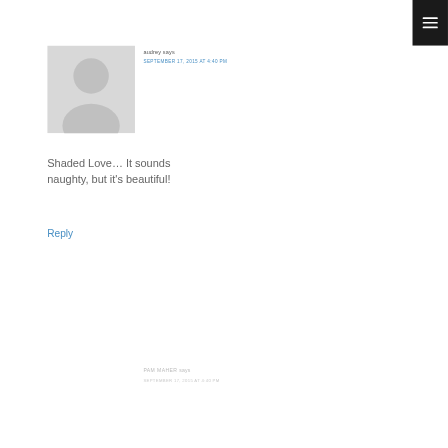[Figure (illustration): Generic grey avatar placeholder image showing a silhouette of a person (head and shoulders) on a light grey background]
audrey says
SEPTEMBER 17, 2015 AT 4:40 PM
Shaded Love… It sounds naughty, but it's beautiful!
Reply
PAM MAHER says
SEPTEMBER 17, 2015 AT 4:40 PM